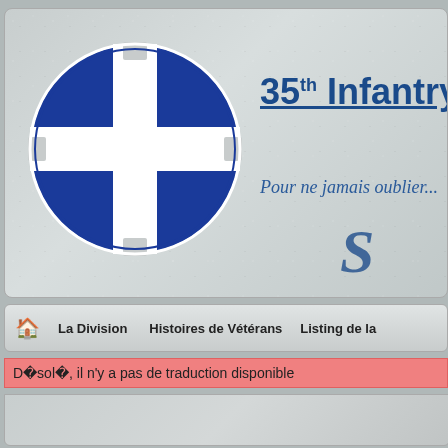[Figure (logo): 35th Infantry Division military insignia: blue circle with white cross dividing it into quadrants, with notches at compass points]
35th Infantry Division
Pour ne jamais oublier...
[Figure (illustration): Cursive script decoration starting with 'S']
🏠  La Division  Histoires de Vétérans  Listing de la...
D�sol�, il n'y a pas de traduction disponible